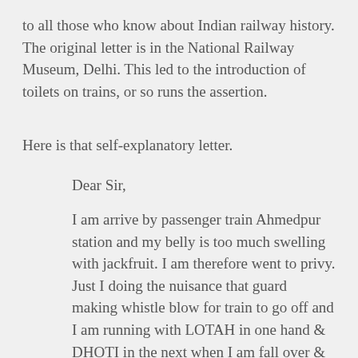to all those who know about Indian railway history. The original letter is in the National Railway Museum, Delhi. This led to the introduction of toilets on trains, or so runs the assertion.
Here is that self-explanatory letter.
Dear Sir,
I am arrive by passenger train Ahmedpur station and my belly is too much swelling with jackfruit. I am therefore went to privy. Just I doing the nuisance that guard making whistle blow for train to go off and I am running with LOTAH in one hand & DHOTI in the next when I am fall over &